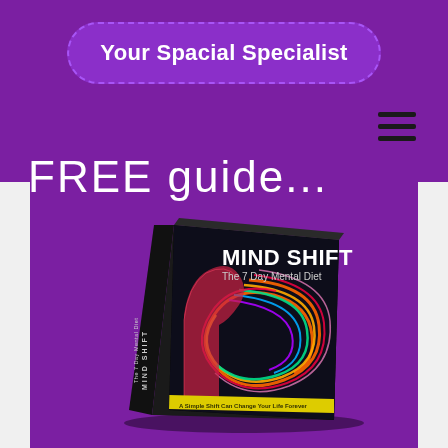Your Spacial Specialist
[Figure (illustration): Hamburger menu icon (three horizontal lines) in dark color on purple background]
FREE guide...
[Figure (photo): Book cover of 'MIND SHIFT: The 7 Day Mental Diet' featuring colorful swirling light trails on a dark background with a human profile silhouette]